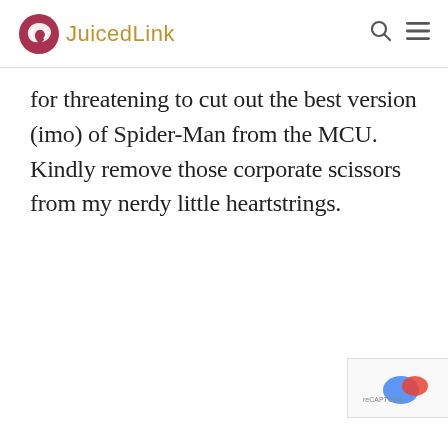JuicedLink
for threatening to cut out the best version (imo) of Spider-Man from the MCU. Kindly remove those corporate scissors from my nerdy little heartstrings.
[Figure (logo): reCAPTCHA logo badge in bottom right corner]